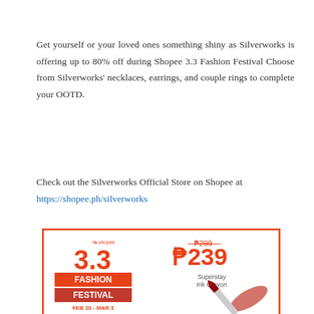Get yourself or your loved ones something shiny as Silverworks is offering up to 80% off during Shopee 3.3 Fashion Festival Choose from Silverworks' necklaces, earrings, and couple rings to complete your OOTD.
Check out the Silverworks Official Store on Shopee at https://shopee.ph/silverworks
[Figure (infographic): Shopee 3.3 Fashion Festival promotional banner for Maybelline Superstay Ink Crayon. Shows orange bordered box with Shopee 3.3 Fashion Festival logo on left, FEB 20 - MAR 3 date, Maybelline branding, and on right shows original price P299 crossed out with sale price P239 for Superstay Ink Crayon, with product image of red lipstick crayon and red swatch.]